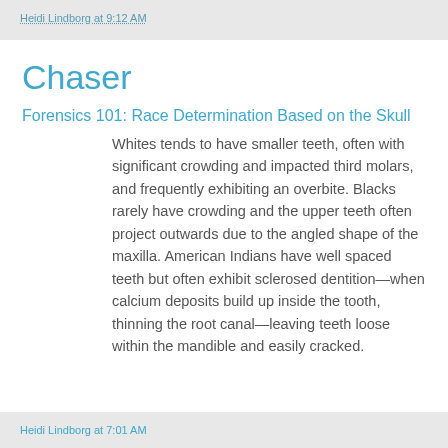Heidi Lindborg at 9:12 AM
Chaser
Forensics 101: Race Determination Based on the Skull
Whites tends to have smaller teeth, often with significant crowding and impacted third molars, and frequently exhibiting an overbite. Blacks rarely have crowding and the upper teeth often project outwards due to the angled shape of the maxilla. American Indians have well spaced teeth but often exhibit sclerosed dentition—when calcium deposits build up inside the tooth, thinning the root canal—leaving teeth loose within the mandible and easily cracked.
Heidi Lindborg at 7:01 AM